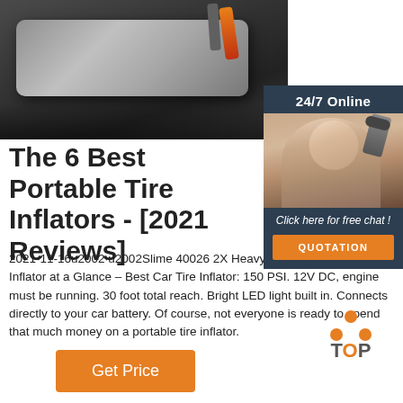[Figure (photo): Photo of a portable tire inflator device on a dark surface with cables]
[Figure (infographic): Sidebar with 24/7 Online support agent photo, 'Click here for free chat!' and QUOTATION button]
The 6 Best Portable Tire Inflators - [2021 Reviews]
2021-11-16u2002·u2002Slime 40026 2X Heavy-Duty Direct Drive Tire Inflator at a Glance – Best Car Tire Inflator: 150 PSI. 12V DC, engine must be running. 30 foot total reach. Bright LED light built in. Connects directly to your car battery. Of course, not everyone is ready to spend that much money on a portable tire inflator.
[Figure (infographic): TOP icon with orange dots arranged in triangle and TOP label]
Get Price